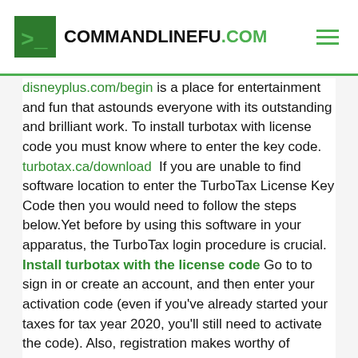COMMANDLINEFU.COM
disneyplus.com/begin is a place for entertainment and fun that astounds everyone with its outstanding and brilliant work. To install turbotax with license code you must know where to enter the key code. turbotax.ca/download  If you are unable to find software location to enter the TurboTax License Key Code then you would need to follow the steps below.Yet before by using this software in your apparatus, the TurboTax login procedure is crucial. Install turbotax with the license code Go to to sign in or create an account, and then enter your activation code (even if you've already started your taxes for tax year 2020, you'll still need to activate the code). Also, registration makes worthy of special offers, product updates, and advance purchases.turbotax.ca/download  is a plan of software application, which assists to take care of income tax returns. Intuit